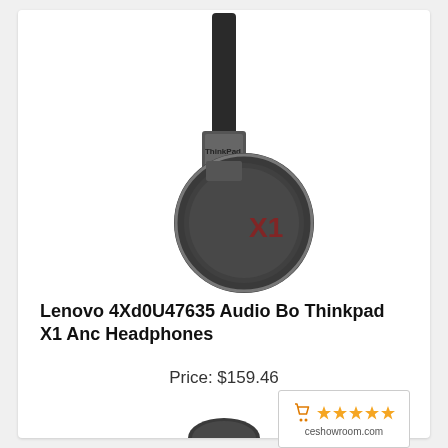[Figure (photo): Lenovo ThinkPad X1 ANC Headphones product photo showing a single over-ear headphone cup with ThinkPad branding and X1 logo in dark gray/black finish]
Lenovo 4Xd0U47635 Audio Bo Thinkpad X1 Anc Headphones
Price: $159.46
[Figure (other): CE Showroom rating badge showing 5 orange stars and ceshowroom.com text]
[Figure (photo): Partial view of a second headphone at the bottom of the page (peeking in)]